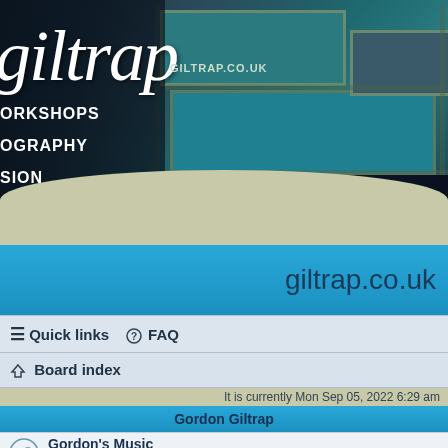[Figure (screenshot): Giltrap website header with stone/teal background, script logo text 'giltrap', domain 'GILTRAP.CO.UK', and nav items WORKSHOPS, OGRAPHY, SION]
giltrap.co.uk
≡ Quick links  ⓠ FAQ
⌂ Board index
It is currently Mon Sep 05, 2022 6:29 am
Gordon Giltrap
Gordon's Music
This is the place to post items relating to Gordon and his music in a...